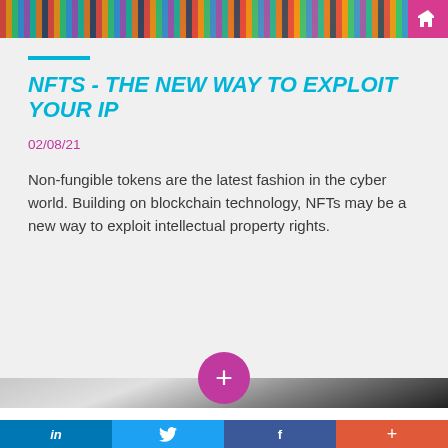[Figure (photo): Top banner image showing colorful wires/cables on a circuit board background with a pink icon button in top right corner]
NFTS - THE NEW WAY TO EXPLOIT YOUR IP
02/08/21
Non-fungible tokens are the latest fashion in the cyber world. Building on blockchain technology, NFTs may be a new way to exploit intellectual property rights.
[Figure (photo): Bottom partial image showing a white curved object against a dark/grey background]
in  (Twitter bird icon)  f  +